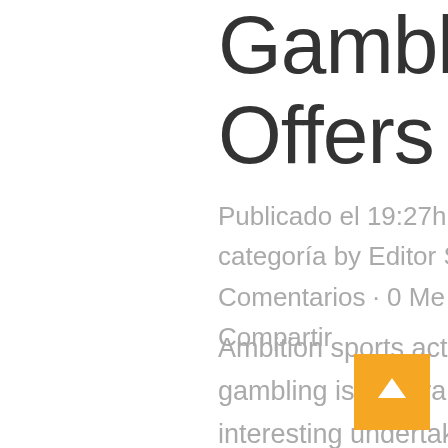Gambling Offers
Publicado el 19:27h in Sin categoría by Editor Sincero · 0 Comentarios · 0 Me gusta · Compartir
Ambition sports activities gambling is generally a quite interesting undertaking the fact that you may be joy inside if you are often tired with basically viewing. Wagering about this video game will be achievable. The moment on the web igaming, eSports gamblers will be able to improve their chance by just getting for you to tend to be knowledgeable